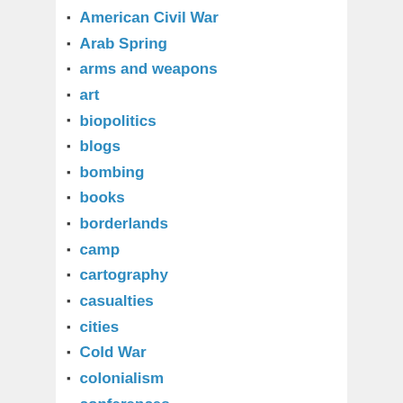American Civil War
Arab Spring
arms and weapons
art
biopolitics
blogs
bombing
books
borderlands
camp
cartography
casualties
cities
Cold War
colonialism
conferences
corpography
counterinsurgency
counterterrorism
culture
cyberwarfare